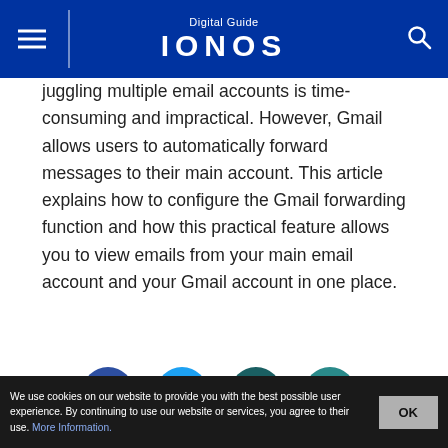Digital Guide IONOS
juggling multiple email accounts is time-consuming and impractical. However, Gmail allows users to automatically forward messages to their main account. This article explains how to configure the Gmail forwarding function and how this practical feature allows you to view emails from your main email account and your Gmail account in one place.
[Figure (infographic): Social sharing icons: Facebook (dark blue circle with f), Twitter (light blue circle with bird), XING (dark teal circle with X logo), LinkedIn (teal circle with in)]
[Figure (photo): Partial preview of a related article with a thumbnail showing a desk/office scene]
We use cookies on our website to provide you with the best possible user experience. By continuing to use our website or services, you agree to their use. More Information.